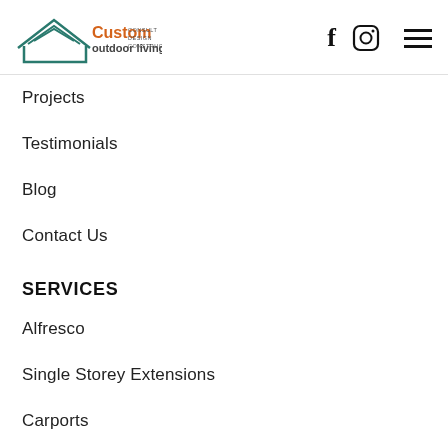[Figure (logo): Custom Outdoor Living logo with house icon, teal roof lines, orange text 'Custom', grey text 'outdoor living', small text 'CONSULT DESIGN CONSTRUCT']
Projects
Testimonials
Blog
Contact Us
SERVICES
Alfresco
Single Storey Extensions
Carports
CONTACT